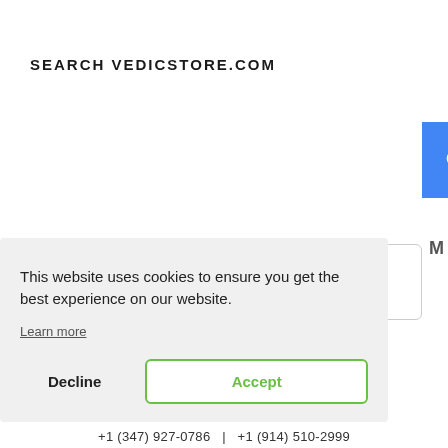SEARCH VEDICSTORE.COM
[Figure (screenshot): Google enhanced search bar with blue search button icon]
This website uses cookies to ensure you get the best experience on our website.
Learn more
Decline
Accept
+1 (347) 927-0786   |   +1 (914) 510-2999